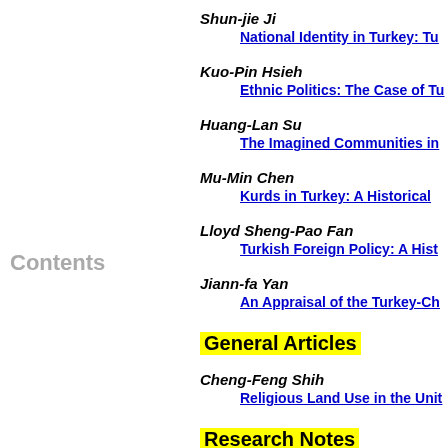Contents
Shun-jie Ji — National Identity in Turkey: Tu
Kuo-Pin Hsieh — Ethnic Politics: The Case of Tu
Huang-Lan Su — The Imagined Communities in
Mu-Min Chen — Kurds in Turkey: A Historical
Lloyd Sheng-Pao Fan — Turkish Foreign Policy: A Hist
Jiann-fa Yan — An Appraisal of the Turkey-Ch
General Articles
Cheng-Feng Shih — Religious Land Use in the Unit
Research Notes